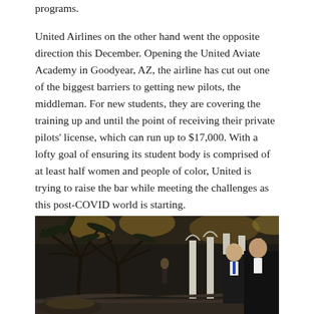programs.
United Airlines on the other hand went the opposite direction this December. Opening the United Aviate Academy in Goodyear, AZ, the airline has cut out one of the biggest barriers to getting new pilots, the middleman. For new students, they are covering the training up and until the point of receiving their private pilots' license, which can run up to $17,000. With a lofty goal of ensuring its student body is comprised of at least half women and people of color, United is trying to raise the bar while meeting the challenges as this post-COVID world is starting.
[Figure (photo): Nighttime photo of an outdoor venue with palm trees and white columns, two men in suits visible on the right side]